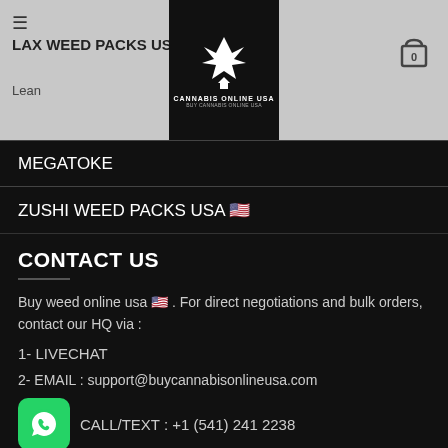LAX WEED PACKS USA
Lean
[Figure (logo): Cannabis Online USA logo with leaf icon on black background]
MEGATOKE
ZUSHI WEED PACKS USA 🇺🇸
CONTACT US
Buy weed online usa 🇺🇸 . For direct negotiations and bulk orders, contact our HQ via :
1- LIVECHAT
2- EMAIL : support@buycannabisonlineusa.com
CALL/TEXT : +1 (541) 241 2238